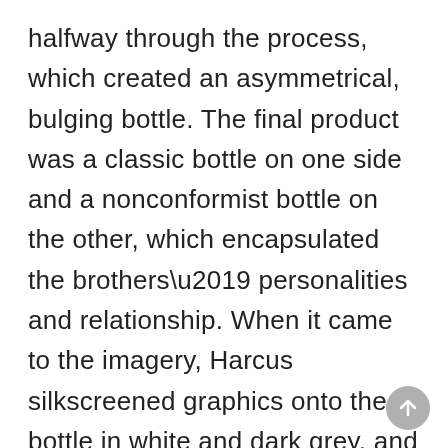halfway through the process, which created an asymmetrical, bulging bottle. The final product was a classic bottle on one side and a nonconformist bottle on the other, which encapsulated the brothers' personalities and relationship. When it came to the imagery, Harcus silkscreened graphics onto the bottle in white and dark grey, and dipped them in Sheraz red and Semillon yellow wax. The bottles were then encased in individual cylinders that carry the story and wine information. Mr. Drayton loved the design, saying it was the “perfect expression of